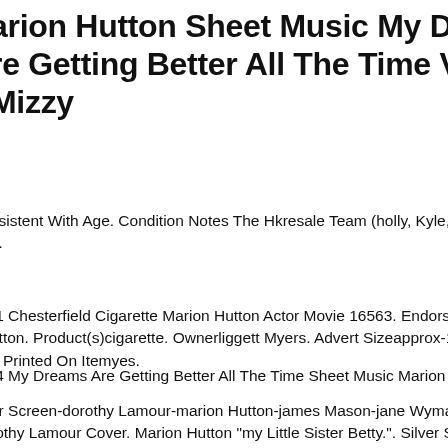arion Hutton Sheet Music My Dreams re Getting Better All The Time Vic Mizzy
nsistent With Age. Condition Notes The Hkresale Team (holly, Kyle, Jason, Nat
3.
-1 Chesterfield Cigarette Marion Hutton Actor Movie 16563. Endorsermarion
utton. Product(s)cigarette. Ownerliggett Myers. Advert Sizeapprox-10-12" X 13-1
e Printed On Itemyes.
-4 My Dreams Are Getting Better All The Time Sheet Music Marion Hutton Cov
er Screen-dorothy Lamour-marion Hutton-james Mason-jane Wyman-feb-1949
rothy Lamour Cover. Marion Hutton "my Little Sister Betty.". Silver Screen.
olisher Na.